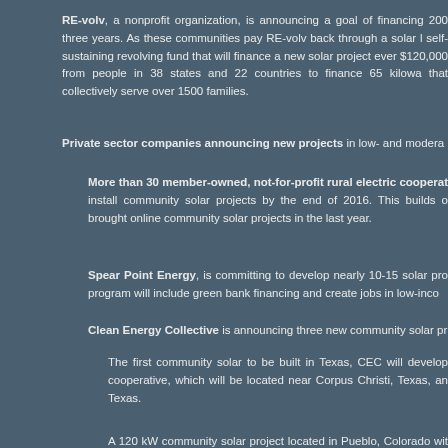RE-volv, a nonprofit organization, is announcing a goal of financing 200 three years. As these communities pay RE-volv back through a solar l self-sustaining revolving fund that will finance a new solar project ever $120,000 from people in 38 states and 22 countries to finance 65 kilowa that collectively serve over 1500 families.
Private sector companies announcing new projects in low- and modera
More than 30 member-owned, not-for-profit rural electric cooperat install community solar projects by the end of 2016. This builds o brought online community solar projects in the last year.
Spear Point Energy, is committing to develop nearly 10-15 solar pro program will include green bank financing and create jobs in low-inco
Clean Energy Collective is announcing three new community solar pr
The first community solar to be built in Texas, CEC will develop cooperative, which will be located near Corpus Christi, Texas, an Texas.
A 120 kW community solar project located in Pueblo, Colorado wit will serve low-income households through a partnership with Posa
A new partnership with CPS Energy to develop a 1.2 MW commun will be the first for CPS Energy and make CPS the largest munici project.
Freetown, MA will soon complete a shared solar installation. The NRG Energy, Inc. in Massachusetts – will provide one megaw homes. This project will provide solar power to residents